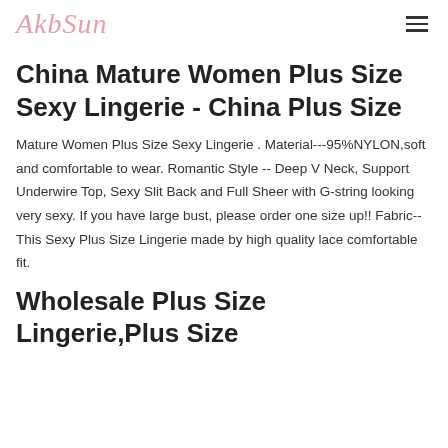AkbSun
China Mature Women Plus Size Sexy Lingerie - China Plus Size
Mature Women Plus Size Sexy Lingerie . Material---95%NYLON,soft and comfortable to wear. Romantic Style -- Deep V Neck, Support Underwire Top, Sexy Slit Back and Full Sheer with G-string looking very sexy. If you have large bust, please order one size up!! Fabric--This Sexy Plus Size Lingerie made by high quality lace comfortable fit.
Wholesale Plus Size Lingerie,Plus Size